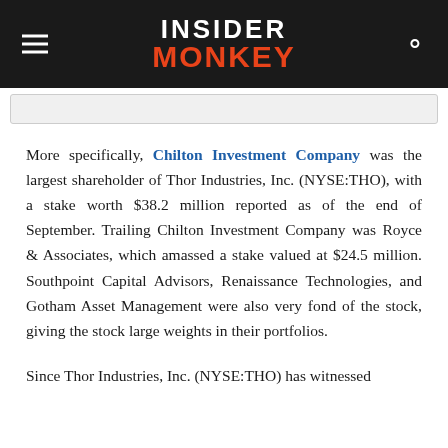INSIDER MONKEY
More specifically, Chilton Investment Company was the largest shareholder of Thor Industries, Inc. (NYSE:THO), with a stake worth $38.2 million reported as of the end of September. Trailing Chilton Investment Company was Royce & Associates, which amassed a stake valued at $24.5 million. Southpoint Capital Advisors, Renaissance Technologies, and Gotham Asset Management were also very fond of the stock, giving the stock large weights in their portfolios.
Since Thor Industries, Inc. (NYSE:THO) has witnessed